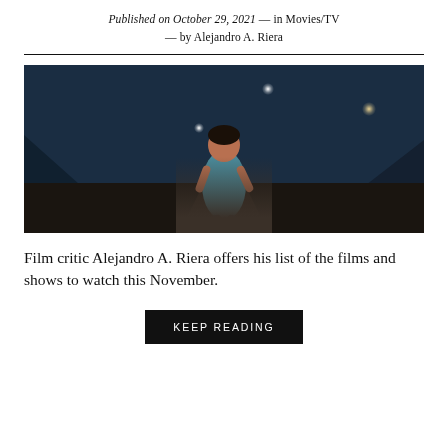Published on October 29, 2021 — in Movies/TV — by Alejandro A. Riera
[Figure (photo): A young woman in a teal tank top running along a dark road at night, with light orbs visible and mountainous terrain in the background.]
Film critic Alejandro A. Riera offers his list of the films and shows to watch this November.
KEEP READING